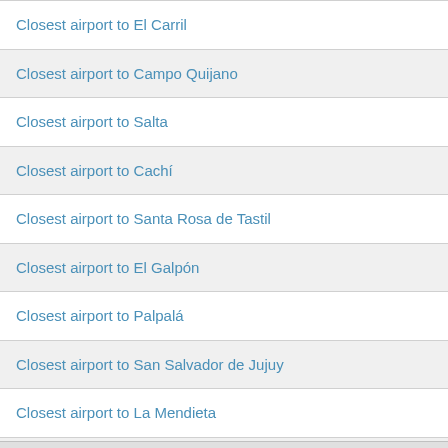Closest airport to El Carril
Closest airport to Campo Quijano
Closest airport to Salta
Closest airport to Cachí
Closest airport to Santa Rosa de Tastil
Closest airport to El Galpón
Closest airport to Palpalá
Closest airport to San Salvador de Jujuy
Closest airport to La Mendieta
Closest airport to Cafayate